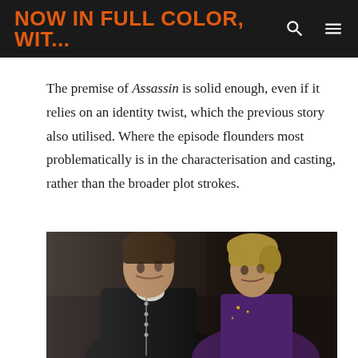NOW IN FULL COLOR, WIT...
The premise of Assassin is solid enough, even if it relies on an identity twist, which the previous story also utilised. Where the episode flounders most problematically is in the characterisation and casting, rather than the broader plot strokes.
[Figure (photo): A man in a dark military-style uniform with silver buttons and trim faces a blonde woman in period costume. They are close together, looking at each other intently, in a dramatic scene from what appears to be a classic television production.]